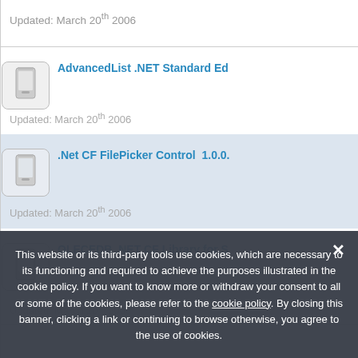Updated: March 20th 2006
AdvancedList .NET Standard Ed
Updated: March 20th 2006
.Net CF FilePicker Control  1.0.0.
Updated: March 20th 2006
OLECEDB .NET CF Library for S
Updated: March 20th 2006
This website or its third-party tools use cookies, which are necessary to its functioning and required to achieve the purposes illustrated in the cookie policy. If you want to know more or withdraw your consent to all or some of the cookies, please refer to the cookie policy. By closing this banner, clicking a link or continuing to browse otherwise, you agree to the use of cookies.